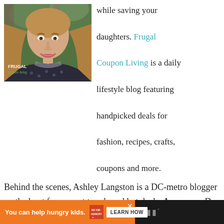[Figure (photo): A smiling woman with blonde hair wearing a dark patterned top. A watermark reads 'FRUGAL coupon living' in the bottom-left corner of the photo.]
while saving your daughters. Frugal Coupon Living is a daily lifestyle blog featuring handpicked deals for fashion, recipes, crafts, coupons and more.
Behind the scenes, Ashley Langston is a DC-metro blogger on the hunt for current trends and hot deals. As seen on Dr. Phil and the Rachael Ray Show.
[Figure (infographic): Advertisement banner at bottom: orange background with text 'You can help hungry kids.' No Kid Hungry logo and 'LEARN HOW' button. Dark background with wordmark on right.]